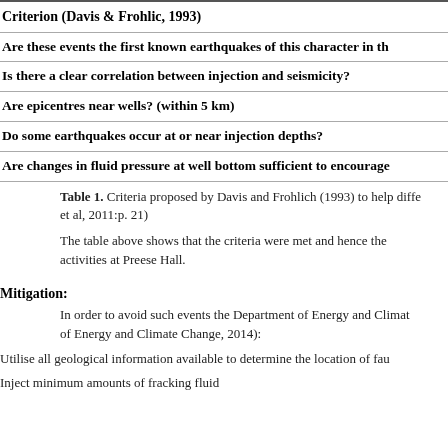| Criterion (Davis & Frohlic, 1993) |
| --- |
| Are these events the first known earthquakes of this character in th... |
| Is there a clear correlation between injection and seismicity? |
| Are epicentres near wells? (within 5 km) |
| Do some earthquakes occur at or near injection depths? |
| Are changes in fluid pressure at well bottom sufficient to encourage... |
Table 1. Criteria proposed by Davis and Frohlich (1993) to help diffe... et al, 2011:p. 21)
The table above shows that the criteria were met and hence the... activities at Preese Hall.
Mitigation:
In order to avoid such events the Department of Energy and Climat... of Energy and Climate Change, 2014):
Utilise all geological information available to determine the location of fau...
Inject minimum amounts of fracking fluid